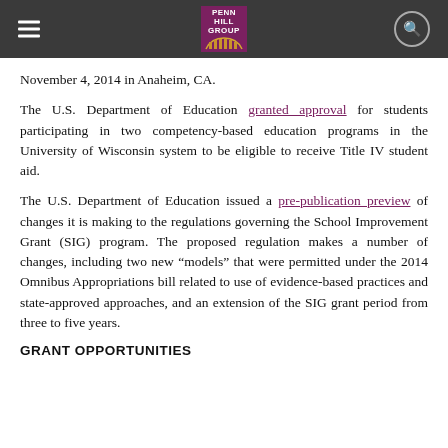Penn Hill Group
November 4, 2014 in Anaheim, CA.
The U.S. Department of Education granted approval for students participating in two competency-based education programs in the University of Wisconsin system to be eligible to receive Title IV student aid.
The U.S. Department of Education issued a pre-publication preview of changes it is making to the regulations governing the School Improvement Grant (SIG) program. The proposed regulation makes a number of changes, including two new “models” that were permitted under the 2014 Omnibus Appropriations bill related to use of evidence-based practices and state-approved approaches, and an extension of the SIG grant period from three to five years.
GRANT OPPORTUNITIES